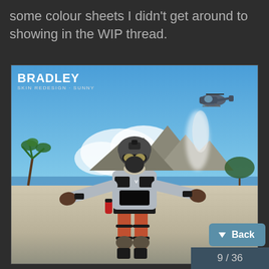some colour sheets I didn't get around to showing in the WIP thread.
[Figure (illustration): Game character skin artwork: 'BRADLEY - SKIN REDESIGN - SUNNY'. A tactical military-style character in orange pants, grey body armor, helmet with goggles, arms spread wide. Background shows tropical beach scene with blue sky, mountains, volcano smoke, palm trees, and a helicopter in the sky.]
Back
9 / 36